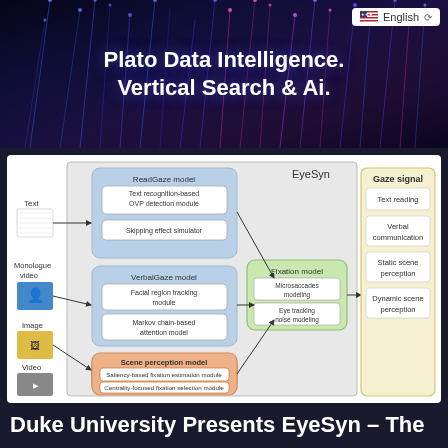[Figure (infographic): Plato Data Intelligence website header with glowing vertical lines on dark blue/purple background and English language selector]
Plato Data Intelligence.
Vertical Search & Ai.
[Figure (flowchart): EyeSyn system diagram showing ReadGaze model (Text recognition-based OVP detection module, Skipping effect simulator), VerbalGaze model (Facial region tracking module, Markov chain-based attention model), Scene perception model (Saliency-based fixation estimation module, Centrality-focused fixation selection module), Fixation model (Microsaccades modeling, Eye tracking noise modeling), with inputs Text, Monologue video, Image, Video and outputs Gaze signal (Text reading, Verbal communication, Static scene perception, Dynamic scene perception)]
Duke University Presents EyeSyn – The